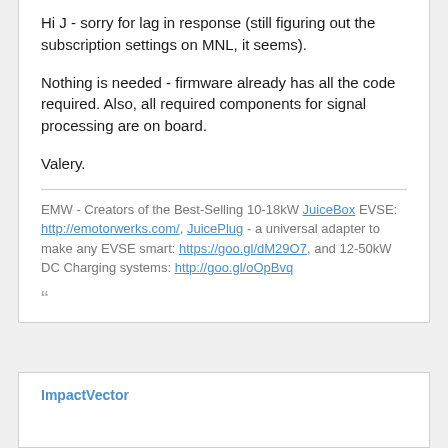Hi J - sorry for lag in response (still figuring out the subscription settings on MNL, it seems).

Nothing is needed - firmware already has all the code required. Also, all required components for signal processing are on board.

Valery.
EMW - Creators of the Best-Selling 10-18kW JuiceBox EVSE: http://emotorwerks.com/, JuicePlug - a universal adapter to make any EVSE smart: https://goo.gl/dM29O7, and 12-50kW DC Charging systems: http://goo.gl/oOpBvq
““
ImpactVector